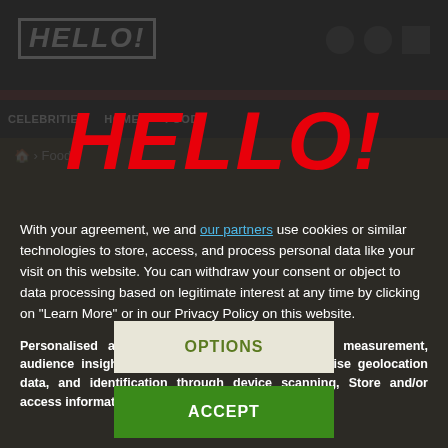[Figure (screenshot): HELLO! magazine website screenshot showing navigation bar with logo, menu items (CELEBRITIES, HOMES, FOOD), and a partially visible food article page with a dark overlay]
HELLO!
With your agreement, we and our partners use cookies or similar technologies to store, access, and process personal data like your visit on this website. You can withdraw your consent or object to data processing based on legitimate interest at any time by clicking on "Learn More" or in our Privacy Policy on this website.
Personalised ads and content, ad and content measurement, audience insights and product development, Precise geolocation data, and identification through device scanning, Store and/or access information on a device
OPTIONS
ACCEPT